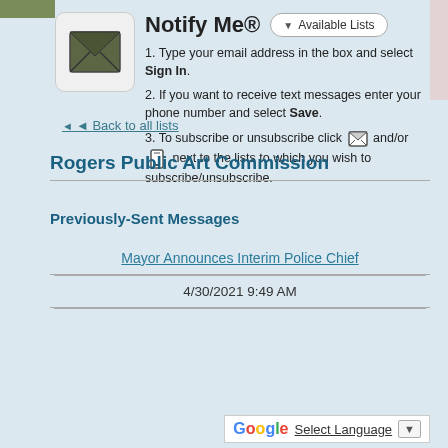Notify Me®
1. Type your email address in the box and select Sign In.
2. If you want to receive text messages enter your phone number and select Save.
3. To subscribe or unsubscribe click [email icon] and/or [phone icon] next to the lists to which you wish to subscribe/unsubscribe.
◄ Back to all lists
Rogers Public Art Commission
Previously-Sent Messages
| Message | Date |
| --- | --- |
| Mayor Announces Interim Police Chief | 4/30/2021 9:49 AM |
Select Language